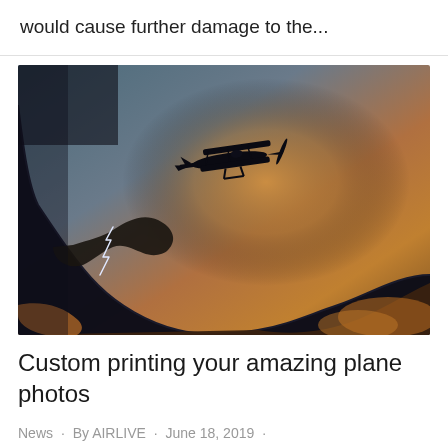would cause further damage to the...
[Figure (photo): A biplane silhouetted against a dramatic sunset sky with dark storm clouds and golden-orange light. Lightning bolt visible along cloud edge.]
Custom printing your amazing plane photos
News · By AIRLIVE · June 18, 2019 ·